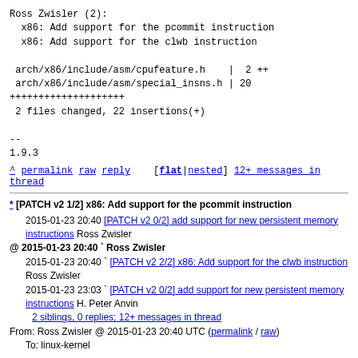Ross Zwisler (2):
  x86: Add support for the pcommit instruction
  x86: Add support for the clwb instruction

 arch/x86/include/asm/cpufeature.h    |  2 ++
 arch/x86/include/asm/special_insns.h | 20
++++++++++++++++++++
 2 files changed, 22 insertions(+)

--
1.9.3
^ permalink raw reply    [flat|nested] 12+ messages in thread
* [PATCH v2 1/2] x86: Add support for the pcommit instruction
   2015-01-23 20:40 [PATCH v2 0/2] add support for new persistent memory instructions Ross Zwisler
@ 2015-01-23 20:40 ` Ross Zwisler
   2015-01-23 20:40 ` [PATCH v2 2/2] x86: Add support for the clwb instruction Ross Zwisler
   2015-01-23 23:03 ` [PATCH v2 0/2] add support for new persistent memory instructions H. Peter Anvin
     2 siblings, 0 replies; 12+ messages in thread
From: Ross Zwisler @ 2015-01-23 20:40 UTC (permalink / raw)
  To: linux-kernel